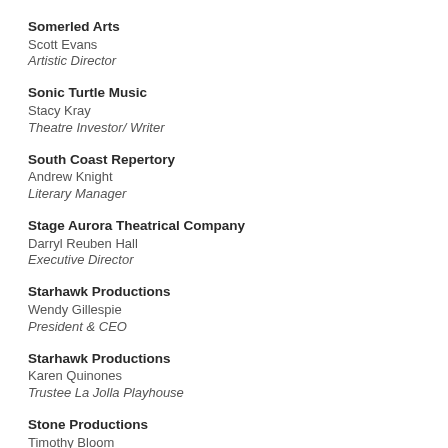Somerled Arts
Scott Evans
Artistic Director
Sonic Turtle Music
Stacy Kray
Theatre Investor/ Writer
South Coast Repertory
Andrew Knight
Literary Manager
Stage Aurora Theatrical Company
Darryl Reuben Hall
Executive Director
Starhawk Productions
Wendy Gillespie
President & CEO
Starhawk Productions
Karen Quinones
Trustee La Jolla Playhouse
Stone Productions
Timothy Bloom